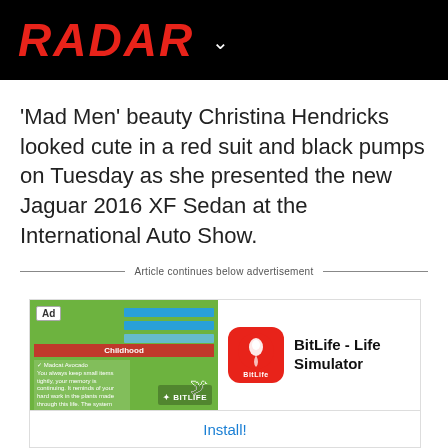RADAR
'Mad Men' beauty Christina Hendricks looked cute in a red suit and black pumps on Tuesday as she presented the new Jaguar 2016 XF Sedan at the International Auto Show.
Article continues below advertisement
[Figure (screenshot): BitLife - Life Simulator app advertisement with game screenshot and install button]